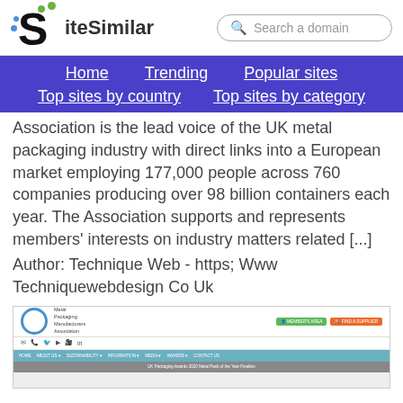SiteSimilar — Search a domain
Home   Trending   Popular sites   Top sites by country   Top sites by category
Association is the lead voice of the UK metal packaging industry with direct links into a European market employing 177,000 people across 760 companies producing over 98 billion containers each year. The Association supports and represents members' interests on industry matters related [...]
Author: Technique Web - https; Www Techniquewebdesign Co Uk
[Figure (screenshot): Screenshot of Metal Packaging Manufacturers Association website showing logo, member login and find a supplier buttons, social media icons, blue navigation menu bar, and a banner reading UK Packaging Awards 2020 Metal Pack of the Year Finalists]